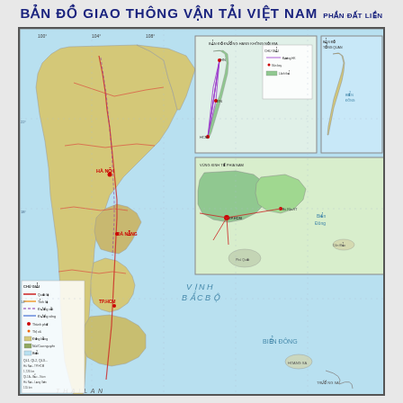BẢN ĐỒ GIAO THÔNG VẬN TẢI VIỆT NAM PHẦN ĐẤT LIỀN
[Figure (map): Vietnam transportation map (Bản đồ Giao thông Vận tải Việt Nam - Phần đất liền). Shows the land territory of Vietnam with road, rail and other transport networks marked. Includes inset maps of Hanoi region with air routes, southern Vietnam regional detail, and a full outline map of Vietnam along the eastern edge. The main map shows Vietnam's elongated S-shaped land area with neighboring countries China (Trung Quốc) to the north, Laos and Cambodia to the west, and the South China Sea (Biển Đông / Vịnh Bắc Bộ) to the east. Transport routes shown in red/pink lines (roads and railways). Yellow/light orange shading indicates land areas. Blue/cyan indicates sea areas. Inset maps show air route diagrams and regional detail maps. A legend/table appears in the lower left corner of the map.]